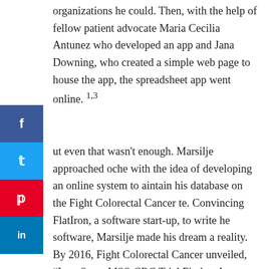organizations he could. Then, with the help of fellow patient advocate Maria Cecilia Antunez who developed an app and Jana Downing, who created a simple web page to house the app, the spreadsheet app went online. 1,3
ut even that wasn't enough. Marsilje approached oche with the idea of developing an online system to aintain his database on the Fight Colorectal Cancer te. Convincing FlatIron, a software start-up, to write he software, Marsilje made his dream a reality. By 2016, Fight Colorectal Cancer unveiled, "Late Stage MSS-CRC Trial Finder: A curated list powered by patients. Marsilje wrote in his blog, "Today an activist dream of mine all comes together on the Fight Colorectal Cancer website... all starting from a simple spreadsheet of trials I was interested in as a patient-